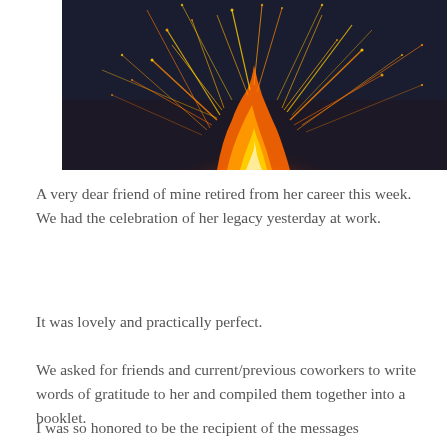[Figure (photo): A photograph of a bonfire or fire with bright orange flames and sparks flying upward against a dark background.]
A very dear friend of mine retired from her career this week. We had the celebration of her legacy yesterday at work.
It was lovely and practically perfect.
We asked for friends and current/previous coworkers to write words of gratitude to her and compiled them together into a booklet.
I was so honored to be the recipient of the messages and compile them into this booklet. The...